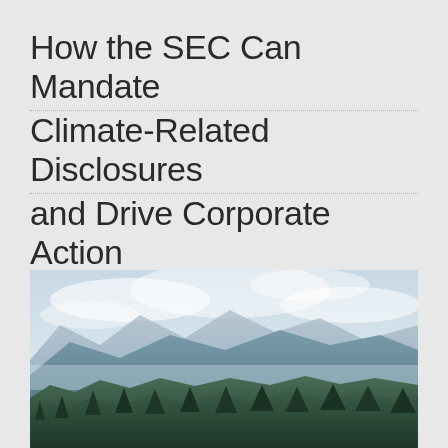How the SEC Can Mandate Climate-Related Disclosures and Drive Corporate Action
In support of the SEC's current efforts to react to market demand for comprehensive climate-related financial disclosures, BSR responded to the latest public consultation on climate-related disclosure. We share our recommendations.
Read More ➤
[Figure (photo): Landscape photo of mountain ranges with evergreen forest in the foreground and misty mountains in the background under a cloudy sky]